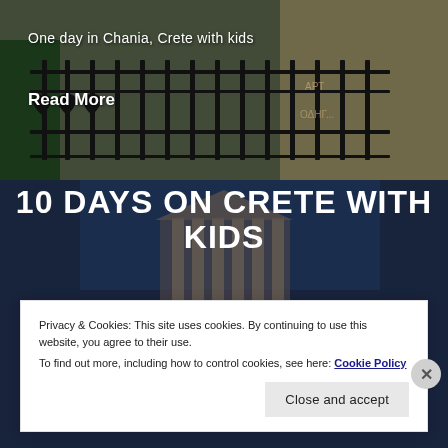[Figure (photo): Photo of an ornate iron balcony railing/gate with street scene in Chania, Crete; dark ironwork with heart motifs against a building background]
One day in Chania, Crete with kids
Read More
[Figure (photo): Photo of a classical building with columns against a blue sky, partially obscured by dark blue overlay background]
10 DAYS ON CRETE WITH KIDS
Privacy & Cookies: This site uses cookies. By continuing to use this website, you agree to their use.
To find out more, including how to control cookies, see here: Cookie Policy
Close and accept